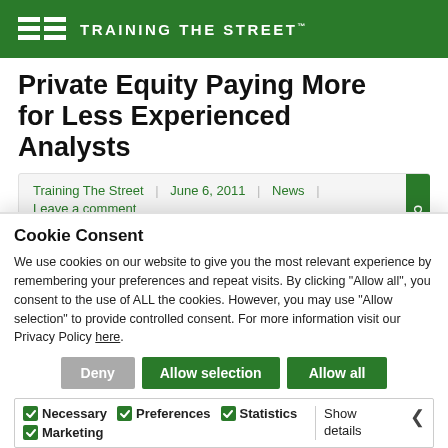TRAINING THE STREET
Private Equity Paying More for Less Experienced Analysts
Training The Street | June 6, 2011 | News | Leave a comment
By Kyle Stock
Cookie Consent
We use cookies on our website to give you the most relevant experience by remembering your preferences and repeat visits. By clicking "Allow all", you consent to the use of ALL the cookies. However, you may use "Allow selection" to provide controlled consent. For more information visit our Privacy Policy here.
Deny | Allow selection | Allow all
Necessary | Preferences | Statistics | Marketing | Show details